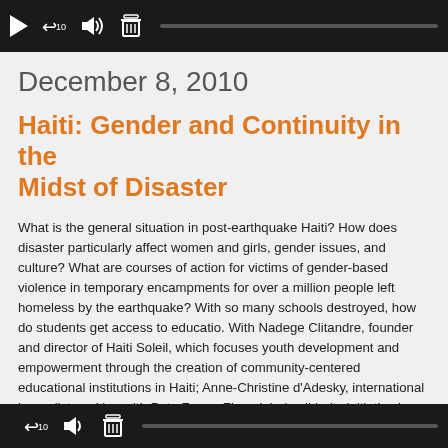[Figure (screenshot): Media player control bar with play button, rewind, volume, and delete icons on dark background with progress bar]
December 8, 2010
Haiti: Gender and Continuity in the Midst of Disaster
What is the general situation in post-earthquake Haiti? How does disaster particularly affect women and girls, gender issues, and culture? What are courses of action for victims of gender-based violence in temporary encampments for over a million people left homeless by the earthquake? With so many schools destroyed, how do students get access to education. With Nadege Clitandre, founder and director of Haiti Soleil, which focuses youth development and empowerment through the creation of community-centered educational institutions in Haiti; Anne-Christine d'Adesky, international journalist working with Poto Fanm+Fi, a global solidarity initiative in partnership with the Haitian women's movement; LisaRuth Ellio volunteer with GrassRoots United, an international support organization working in Port-au-Prince to address the gaps in relief operations; and Ivy Jeanne McClelland just returned from Haiti where she is connected to the student movement MESS (Mouvement des Etudiants du Sud'Est pur le Soutien) in Jacmel.
[Figure (screenshot): Media player control bar at bottom of page]